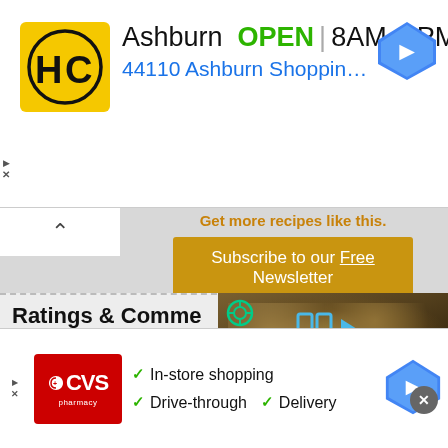[Figure (screenshot): Top advertisement banner: HC hardware store logo, Ashburn OPEN 8AM-8PM, address 44110 Ashburn Shopping Plaza 190, A..., navigation arrow icon]
[Figure (screenshot): Subscription prompt: Get more recipes like this. Subscribe to our Free Newsletter button]
Ratings & Comme
Jul 20, 20
Once you click the click here for the ebook. you may (well I did) get a...
—mrl7111 1247013
See full review »
[Figure (screenshot): Video player overlay showing cheesy tater tot casserole thumbnail with play button and mute icon]
[Figure (screenshot): Bottom CVS Pharmacy advertisement: In-store shopping, Drive-through, Delivery with navigation icon]